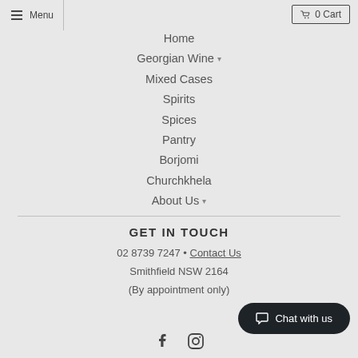Menu | 0 Cart
Home
Georgian Wine ▾
Mixed Cases
Spirits
Spices
Pantry
Borjomi
Churchkhela
About Us ▾
GET IN TOUCH
02 8739 7247 • Contact Us
Smithfield NSW 2164
(By appointment only)
[Figure (illustration): Facebook and Instagram social media icons]
Chat with us